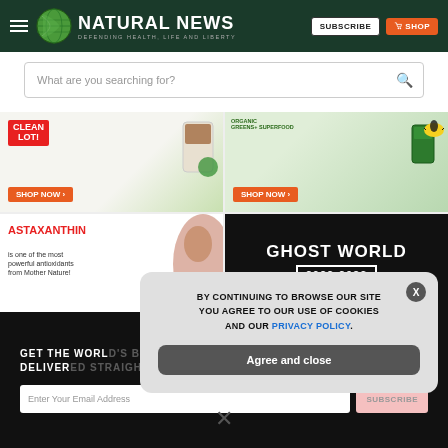[Figure (screenshot): Natural News website header with logo, hamburger menu, Subscribe and Shop buttons on dark green background]
[Figure (screenshot): Search bar with placeholder text 'What are you searching for?' and magnifying glass icon]
[Figure (screenshot): Four advertisement banners in 2x2 grid: 'CLEAN LOT! SHOP NOW', 'GREENS+ SUPERFOOD SHOP NOW', 'ASTAXANTHIN is one of the most powerful antioxidants from Mother Nature!', 'GHOST WORLD 2022-2032']
GET THE WORLD'S BEST NATURAL HEALTH NEWSLETTER DELIVERED STRAIGHT TO YOUR INBOX
Enter Your Email Address
SUBSCRIBE
[Figure (screenshot): Cookie consent modal popup with text: BY CONTINUING TO BROWSE OUR SITE YOU AGREE TO OUR USE OF COOKIES AND OUR PRIVACY POLICY. With 'Agree and close' button and X close button]